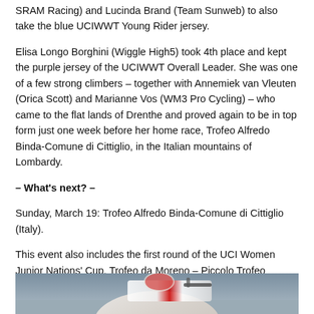SRAM Racing) and Lucinda Brand (Team Sunweb) to also take the blue UCIWWT Young Rider jersey.
Elisa Longo Borghini (Wiggle High5) took 4th place and kept the purple jersey of the UCIWWT Overall Leader. She was one of a few strong climbers – together with Annemiek van Vleuten (Orica Scott) and Marianne Vos (WM3 Pro Cycling) – who came to the flat lands of Drenthe and proved again to be in top form just one week before her home race, Trofeo Alfredo Binda-Comune di Cittiglio, in the Italian mountains of Lombardy.
– What's next? –
Sunday, March 19: Trofeo Alfredo Binda-Comune di Cittiglio (Italy).
This event also includes the first round of the UCI Women Junior Nations' Cup, Trofeo da Moreno – Piccolo Trofeo Alfredo Binda.
[Figure (photo): Partial photo of a cyclist on a road bike, showing the upper body and handlebar area with a red and white jersey/bike.]